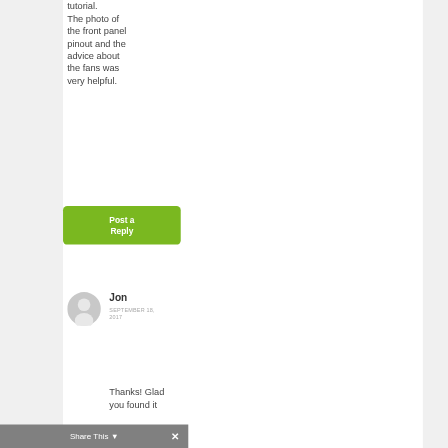tutorial. The photo of the front panel pinout and the advice about the fans was very helpful.
[Figure (other): Green 'Post a Reply' button with rounded corners]
[Figure (other): User avatar – grey circle with silhouette person icon]
Jon
SEPTEMBER 18, 2017
Thanks! Glad you found it
Share This ✕